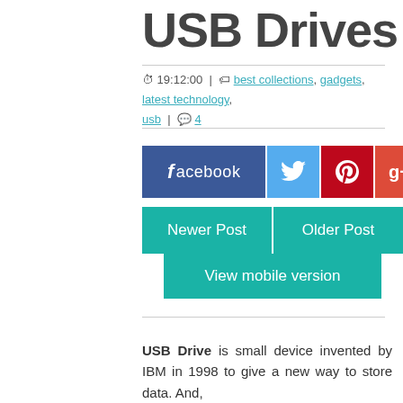USB Drives
🕐 19:12:00 | 🏷 best collections, gadgets, latest technology, usb | 💬 4
[Figure (other): Social share buttons: facebook, twitter (bird icon), pinterest (P icon), google+ (g+ icon)]
Newer Post | Older Post
View mobile version
USB Drive is small device invented by IBM in 1998 to give a new way to store data. And,